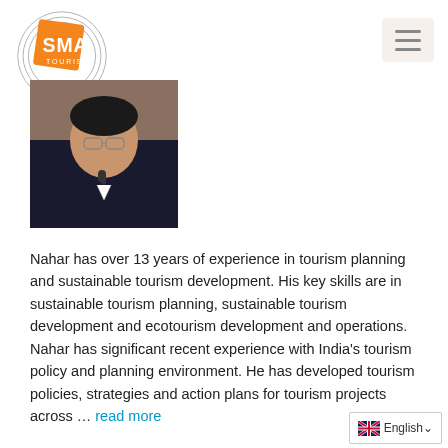[Figure (logo): SMA Tourism logo — orange square with white SMA text, surrounded by concentric circular lines]
[Figure (photo): Portrait photo of Nahar, a man in a dark suit holding a microphone, speaking at an event]
Nahar has over 13 years of experience in tourism planning and sustainable tourism development. His key skills are in sustainable tourism planning, sustainable tourism development and ecotourism development and operations. Nahar has significant recent experience with India’s tourism policy and planning environment. He has developed tourism policies, strategies and action plans for tourism projects across … read more